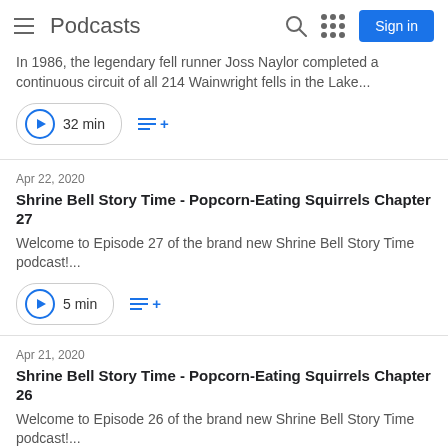Podcasts
In 1986, the legendary fell runner Joss Naylor completed a continuous circuit of all 214 Wainwright fells in the Lake...
32 min
Apr 22, 2020
Shrine Bell Story Time - Popcorn-Eating Squirrels Chapter 27
Welcome to Episode 27 of the brand new Shrine Bell Story Time podcast!...
5 min
Apr 21, 2020
Shrine Bell Story Time - Popcorn-Eating Squirrels Chapter 26
Welcome to Episode 26 of the brand new Shrine Bell Story Time podcast!...
6 min